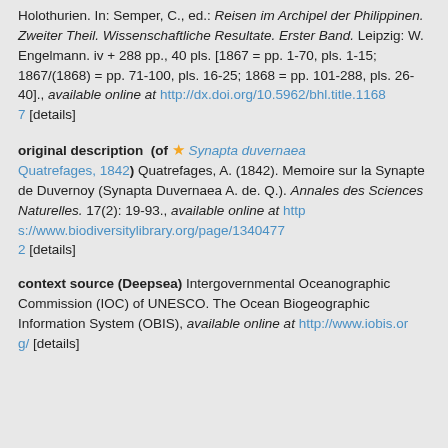Holothurien. In: Semper, C., ed.: Reisen im Archipel der Philippinen. Zweiter Theil. Wissenschaftliche Resultate. Erster Band. Leipzig: W. Engelmann. iv + 288 pp., 40 pls. [1867 = pp. 1-70, pls. 1-15; 1867/(1868) = pp. 71-100, pls. 16-25; 1868 = pp. 101-288, pls. 26-40]., available online at http://dx.doi.org/10.5962/bhl.title.11687 [details]
original description (of ★ Synapta duvernaea Quatrefages, 1842) Quatrefages, A. (1842). Memoire sur la Synapte de Duvernoy (Synapta Duvernaea A. de. Q.). Annales des Sciences Naturelles. 17(2): 19-93., available online at https://www.biodiversitylibrary.org/page/13404772 [details]
context source (Deepsea) Intergovernmental Oceanographic Commission (IOC) of UNESCO. The Ocean Biogeographic Information System (OBIS), available online at http://www.iobis.org/ [details]